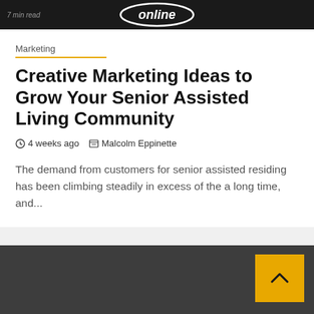7 min read | online
Marketing
Creative Marketing Ideas to Grow Your Senior Assisted Living Community
4 weeks ago   Malcolm Eppinette
The demand from customers for senior assisted residing has been climbing steadily in excess of the a long time, and...
[Figure (other): Dark footer bar with yellow back-to-top arrow button]